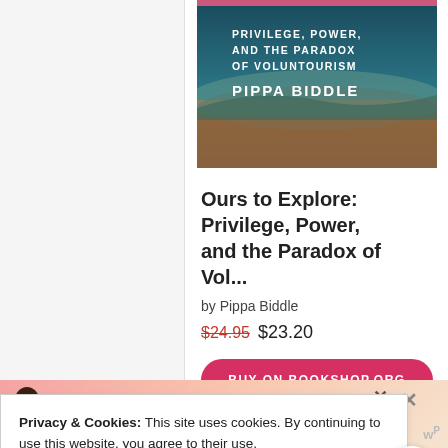[Figure (illustration): Book cover for 'Ours to Explore: Privilege, Power, and the Paradox of Voluntourism' by Pippa Biddle. Teal/dark background with white text and layered landscape imagery.]
Ours to Explore: Privilege, Power, and the Paradox of Vol...
by Pippa Biddle
$24.95  $23.20
BUY ON BOOKSHOP.ORG
Support Local Bookstores
Privacy & Cookies: This site uses cookies. By continuing to use this website, you agree to their use.
To find out more, including how to control cookies, see here:
Cookie Policy
[Figure (illustration): Advertisement banner with illustration of a person and text 'Actions speak louder than words.' Pink/coral gradient background.]